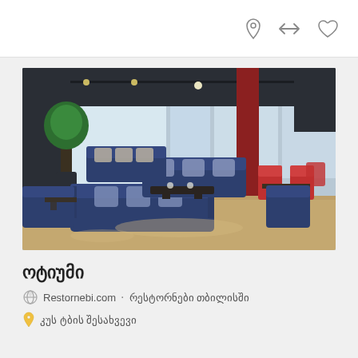[Figure (photo): Interior of a modern restaurant lounge with navy blue sofas and armchairs arranged around low tables, patterned throw pillows, large windows with natural light, a tree plant in the corner, dark ceiling with track lighting, and red chairs visible in the background.]
ოტიუმი
Restornebi.com  .  რესტორნები თბილისში
კუს ტბის შესახვევი